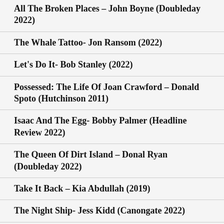All The Broken Places – John Boyne (Doubleday 2022)
The Whale Tattoo- Jon Ransom (2022)
Let's Do It- Bob Stanley (2022)
Possessed: The Life Of Joan Crawford – Donald Spoto (Hutchinson 2011)
Isaac And The Egg- Bobby Palmer (Headline Review 2022)
The Queen Of Dirt Island – Donal Ryan (Doubleday 2022)
Take It Back – Kia Abdullah (2019)
The Night Ship- Jess Kidd (Canongate 2022)